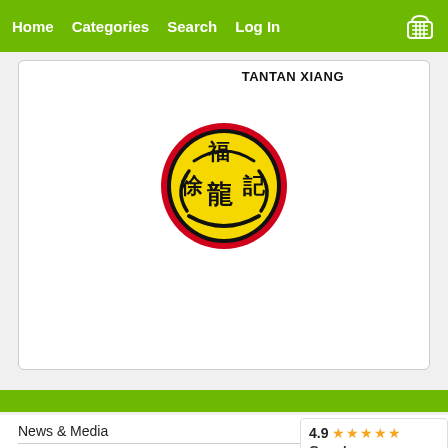Home   Categories   Search   Log In
TANTAN XIANG
[Figure (logo): Circular Chinese restaurant logo with yellow background, red border, black dragon illustration and Chinese characters 福 記 徐]
News & Media
About Us
Find Us
[Figure (other): Google Customer Reviews badge showing 4.9 star rating with 5 orange stars]